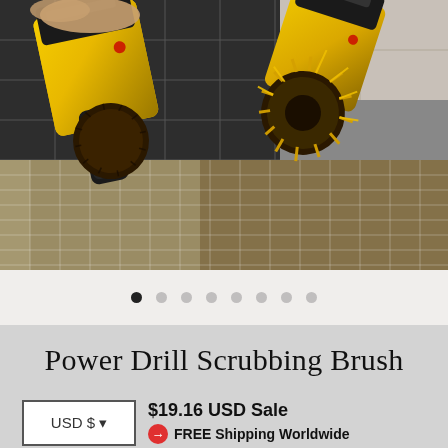[Figure (photo): A yellow power drill with a scrubbing brush attachment cleaning a tiled floor surface. Two drills/brushes visible — one on the left angled down toward dirty tiles, one on the upper right with a yellow bristle brush attachment. The tiles show dirt and grime being cleaned.]
Power Drill Scrubbing Brush
$19.16 USD Sale
FREE Shipping Worldwide